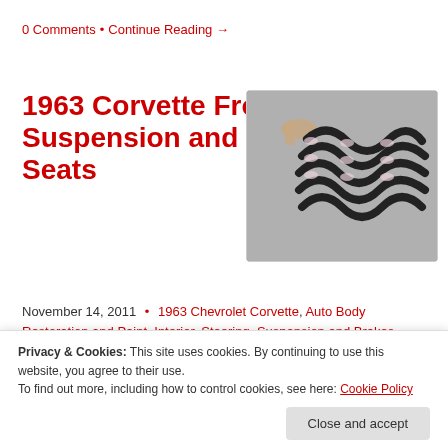0 Comments • Continue Reading →
1963 Corvette Front Suspension and Seats
[Figure (photo): Photo of a coil spring being held by a hand, showing black metal coils with white/silver ends, on a gray background]
November 14, 2011 • 1963 Chevrolet Corvette, Auto Body Restoration and Paint, Interior, Steering, Suspension and Brakes
Joel Jones
Privacy & Cookies: This site uses cookies. By continuing to use this website, you agree to their use.
To find out more, including how to control cookies, see here: Cookie Policy
relay [...]
0 Comments • Continue Reading →